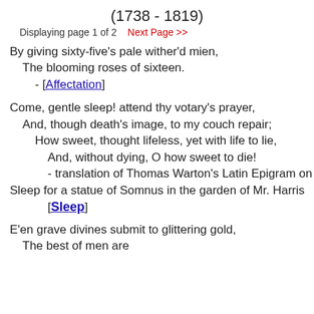(1738 - 1819)
Displaying page 1 of 2    Next Page >>
By giving sixty-five's pale wither'd mien,
  The blooming roses of sixteen.
    - [Affectation]
Come, gentle sleep! attend thy votary's prayer,
  And, though death's image, to my couch repair;
    How sweet, thought lifeless, yet with life to lie,
        And, without dying, O how sweet to die!
        - translation of Thomas Warton's Latin Epigram on Sleep for a statue of Somnus in the garden of Mr. Harris
        [Sleep]
E'en grave divines submit to glittering gold,